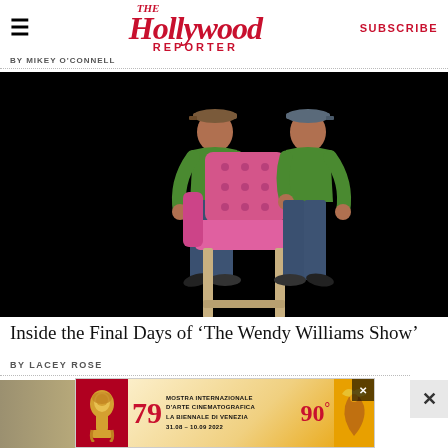≡  The Hollywood Reporter  SUBSCRIBE
BY MIKEY O'CONNELL
[Figure (photo): Two men in green shirts and jeans carrying a pink tufted armchair against a black background]
Inside the Final Days of 'The Wendy Williams Show'
BY LACEY ROSE
[Figure (photo): Partially visible image of a scene below the fold]
[Figure (other): Advertisement banner: 79th Mostra Internazionale D'Arte Cinematografica La Biennale Di Venezia 31.08 - 10.09 2022 with Venice Film Festival lion logo and 90 degree symbol]